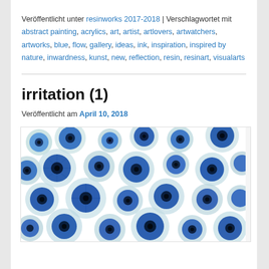Veröffentlicht unter resinworks 2017-2018 | Verschlagwortet mit abstract painting, acrylics, art, artist, artlovers, artwatchers, artworks, blue, flow, gallery, ideas, ink, inspiration, inspired by nature, inwardness, kunst, new, reflection, resin, resinart, visualarts
irritation (1)
Veröffentlicht am April 10, 2018
[Figure (photo): Abstract resin artwork showing circular blue and teal cells/blobs with dark centers on white background, resembling microscopic cells or paint cells]